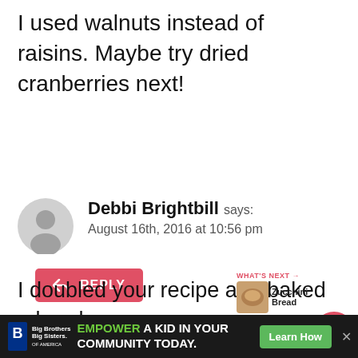I used walnuts instead of raisins. Maybe try dried cranberries next!
[Figure (other): Red Reply button with back arrow icon]
[Figure (other): User avatar - grey silhouette placeholder icon]
Debbi Brightbill says:
August 16th, 2016 at 10:56 pm
I doubled your recipe and baked a bundt pan AND loaf pan! (I wanted to freeze one from the bundt pan for a future treat.) When my husband got home from work, he somehow talked me into letting hi...
[Figure (other): Social sidebar with upvote button (red), heart icon, share icon, count 86.9K, and What's Next: Zucchini Bread widget]
[Figure (other): Advertisement banner: Big Brothers Big Sisters logo, EMPOWER A KID IN YOUR COMMUNITY TODAY., Learn How button]